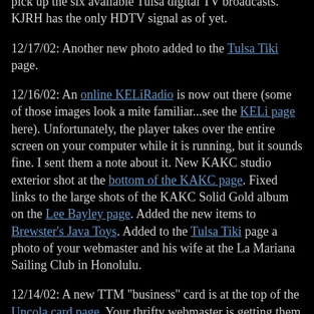pick up the six available Tulsa digital TV broadcasts. KJRH has the only HDTV signal as of yet.
12/17/02: Another new photo added to the Tulsa Tiki page.
12/16/02: An online KELiRadio is now out there (some of those images look a mite familiar...see the KELi page here). Unfortunately, the player takes over the entire screen on your computer while it is running, but it sounds fine. I sent them a note about it. New KAKC studio exterior shot at the bottom of the KAKC page. Fixed links to the large shots of the KAKC Solid Gold album on the Lee Bayley page. Added the new items to Brewster's Java Toys. Added to the Tulsa Tiki page a photo of your webmaster and his wife at the La Mariana Sailing Club in Honolulu.
12/14/02: A new TTM "business" card is at the top of the Uncola card page. Your thrifty webmaster is getting them for free (except for $5 S&H). While we're on the subject, try some free Pulfrich 3D Glasses as a Christmas...